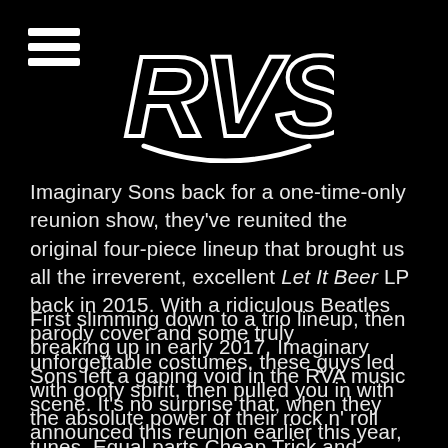RVS logo with hamburger menu
Imaginary Sons back for a one-time-only reunion show, they've reunited the original four-piece lineup that brought us all the irreverent, excellent Let It Beer LP back in 2015. With a ridiculous Beatles parody cover and some truly unforgettable costumes, these guys led with goofy spirit, then pulled you in with the absolute power of their rock n' roll tunes. Equal parts Cheap Trick and Weezer, plus a dose of AC/DC for sheer power, the Imaginary Sons were a band you weren't going to overlook.
First slimming down to a trio lineup, then breaking up in early 2017, Imaginary Sons left a gaping void in the RVA music scene. It's no surprise that, when they announced this reunion earlier this year, people were stoked. And now the payoff to all that anticipation will finally arrive this Friday night when Imaginary Sons rage at City Dogs once